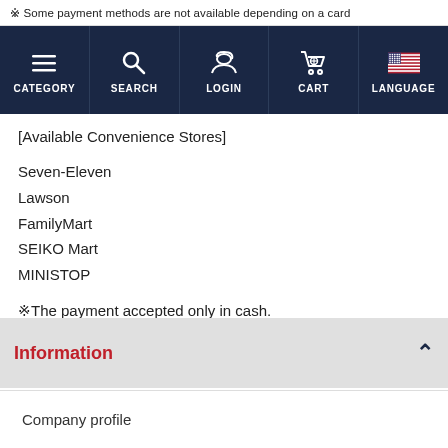※ Some payment methods are not available depending on a card
[Figure (screenshot): Navigation bar with dark navy background containing five items: CATEGORY (hamburger menu icon), SEARCH (magnifying glass icon), LOGIN (cap icon), CART (shopping cart icon), LANGUAGE (US flag icon). All labels in white uppercase.]
[Available Convenience Stores]
Seven-Eleven
Lawson
FamilyMart
SEIKO Mart
MINISTOP
※The payment accepted only in cash.
Information
Company profile